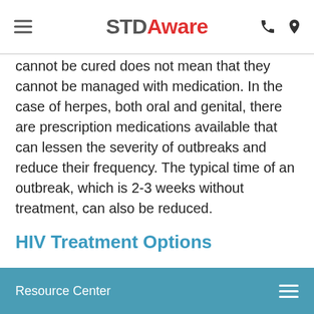STDAware
cannot be cured does not mean that they cannot be managed with medication. In the case of herpes, both oral and genital, there are prescription medications available that can lessen the severity of outbreaks and reduce their frequency. The typical time of an outbreak, which is 2-3 weeks without treatment, can also be reduced.
HIV Treatment Options
There are multiple medications available for HIV. The disease works to weaken your immune system, which often makes you vulnerable to diseases that your body would otherwise be able to overcome. Due to the nature of HIV making your susceptible to many
Resource Center